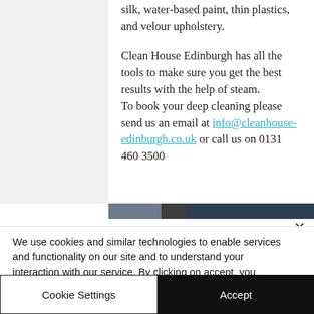surfaces that are heat-sensitive such as silk, water-based paint, thin plastics, and velour upholstery.
Clean House Edinburgh has all the tools to make sure you get the best results with the help of steam. To book your deep cleaning please send us an email at info@cleanhouse-edinburgh.co.uk or call us on 0131 460 3500
[Figure (other): A horizontal progress/navigation bar with three segments: medium grey, dark grey, and dark navy blue, spanning the content area.]
We use cookies and similar technologies to enable services and functionality on our site and to understand your interaction with our service. By clicking on accept, you agree to our use of such technologies for marketing and analytics.
Cookie Settings
Accept